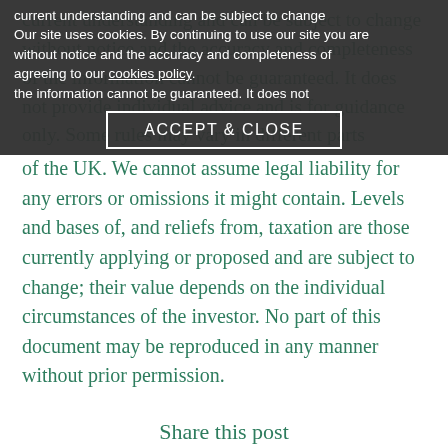current understanding and can be subject to change without notice and the accuracy and completeness of the information cannot be guaranteed. It does not provide individual advice and is for guidance only. Some rules may vary in different parts of the UK. We cannot assume legal liability for any errors or omissions it might contain. Levels and bases of, and reliefs from, taxation are those currently applying or proposed and are subject to change; their value depends on the individual circumstances of the investor. No part of this document may be reproduced in any manner without prior permission.
Our site uses cookies. By continuing to use our site you are agreeing to our cookies policy.
ACCEPT & CLOSE
Share this post